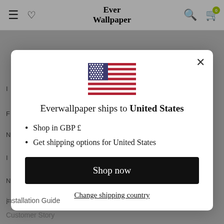Ever Wallpaper
[Figure (screenshot): Modal dialog on Ever Wallpaper website showing US flag, shipping info for United States, bullet points about GBP and shipping options, a Shop now button, and a Change shipping country link]
Everwallpaper ships to United States
Shop in GBP £
Get shipping options for United States
Shop now
Change shipping country
Installation Guide
Customer Story